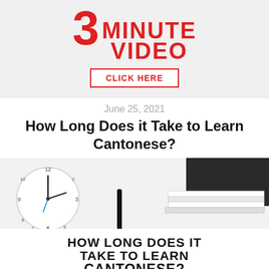[Figure (other): Advertisement banner showing '3 MINUTE VIDEO' in large red text with a 'CLICK HERE' button on light gray background]
June 25, 2021
How Long Does it Take to Learn Cantonese?
[Figure (photo): Photo of a white clock, pen, and notebooks on a white surface. Text overlay reads 'HOW LONG DOES IT TAKE TO LEARN CANTONESE?' with CantoneseClass101.com branding]